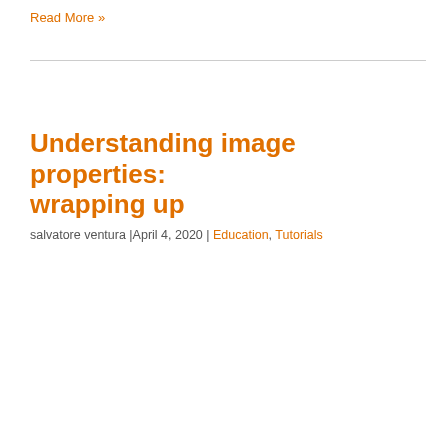Read More »
Understanding image properties: wrapping up
salvatore ventura |April 4, 2020 | Education, Tutorials